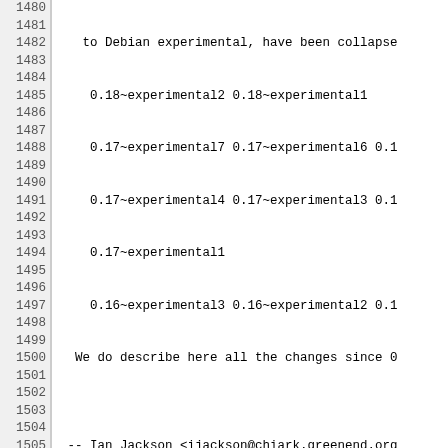Code/changelog listing showing dgit package versions 0.17, 0.16, 0.15 with line numbers 1480-1510
1481: 0.18~experimental2 0.18~experimental1
1482: 0.17~experimental7 0.17~experimental6 0.1
1483: 0.17~experimental4 0.17~experimental3 0.1
1484: 0.17~experimental1
1485: 0.16~experimental3 0.16~experimental2 0.1
1486: We do describe here all the changes since 0
1488: -- Ian Jackson <ijackson@chiark.greenend.org
1490: dgit (0.17) unstable; urgency=high
1492: * Do not grobble around in .git/refs/; inst
1493:   This avoids breaking when git makes packe
1494: * Clarify error message for missing refs/re
1496: -- Ian Jackson <ijackson@chiark.greenend.org
1498: dgit (0.16) unstable; urgency=high
1500: * Format `(3.0) quilt' fixup does not mind
1501:   in the build tree (e.g., build products a
1502: * Set autoflush on stdout, to get better or
1503:   etc. output when stdout is redirected.
1504: * New --damp-run mode, for more convenient
1506: -- Ian Jackson <ijackson@chiark.greenend.org
1508: dgit (0.15) unstable; urgency=low
1510: * Better handling of packages pushed using